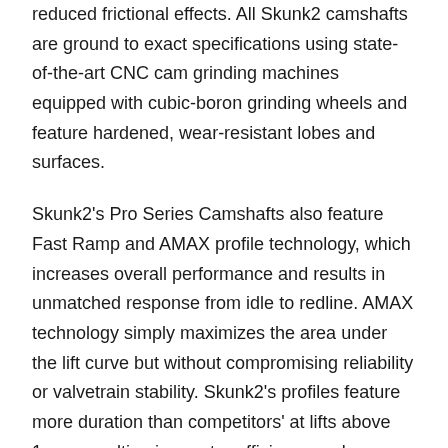reduced frictional effects. All Skunk2 camshafts are ground to exact specifications using state-of-the-art CNC cam grinding machines equipped with cubic-boron grinding wheels and feature hardened, wear-resistant lobes and surfaces.
Skunk2's Pro Series Camshafts also feature Fast Ramp and AMAX profile technology, which increases overall performance and results in unmatched response from idle to redline. AMAX technology simply maximizes the area under the lift curve but without compromising reliability or valvetrain stability. Skunk2's profiles feature more duration than competitors' at lifts above 1mm, resulting in greater efficiency and more power. And thanks to Fast Ramp, the same technology used in Formula One racing, seat timing is reduced, which